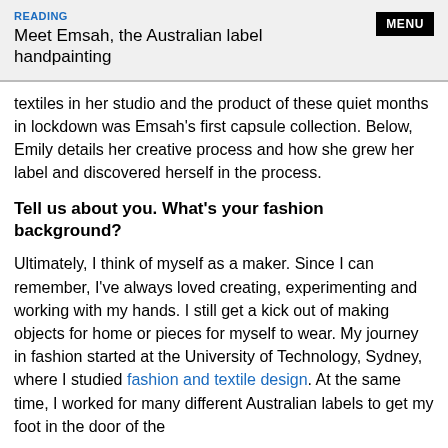READING
Meet Emsah, the Australian label handpainting
textiles in her studio and the product of these quiet months in lockdown was Emsah’s first capsule collection. Below, Emily details her creative process and how she grew her label and discovered herself in the process.
Tell us about you. What’s your fashion background?
Ultimately, I think of myself as a maker. Since I can remember, I’ve always loved creating, experimenting and working with my hands. I still get a kick out of making objects for home or pieces for myself to wear. My journey in fashion started at the University of Technology, Sydney, where I studied fashion and textile design. At the same time, I worked for many different Australian labels to get my foot in the door of the